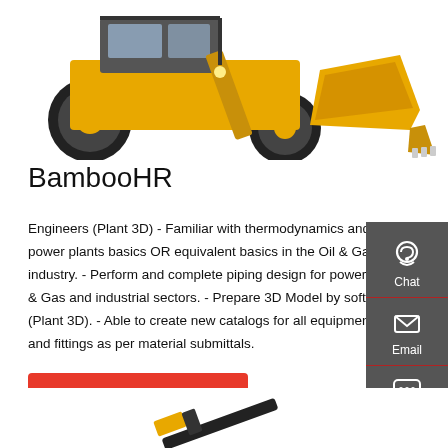[Figure (photo): Yellow construction loader / front-end loader machinery photographed on white background, top portion visible showing the cab and bucket]
BambooHR
Engineers (Plant 3D) - Familiar with thermodynamics and power plants basics OR equivalent basics in the Oil & Gas industry. - Perform and complete piping design for power, Oil & Gas and industrial sectors. - Prepare 3D Model by software (Plant 3D). - Able to create new catalogs for all equipment and fittings as per material submittals.
[Figure (infographic): Dark grey sidebar with three icons: Chat (headset icon), Email (envelope icon), Contact (speech bubble icon), separated by red horizontal lines]
Get a quote
[Figure (photo): Partial view of yellow and black industrial tool or drill equipment at the bottom of the page]